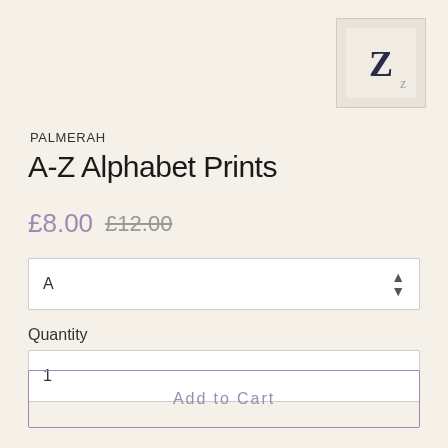[Figure (photo): Small thumbnail image of the letter Z alphabet print product, showing a dark letter Z on a light background]
PALMERAH
A-Z Alphabet Prints
£8.00  £12.00
A
Quantity
1
Add to Cart